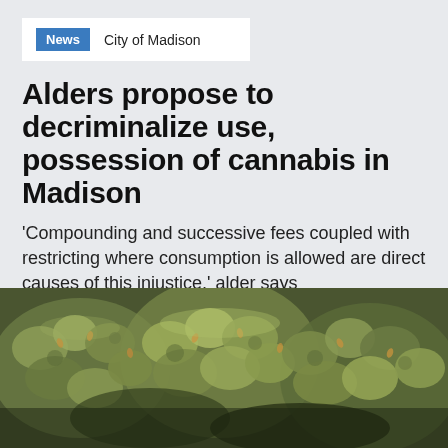News · City of Madison
Alders propose to decriminalize use, possession of cannabis in Madison
'Compounding and successive fees coupled with restricting where consumption is allowed are direct causes of this injustice,' alder says
by MIA LEE · Oct 8, 2020
[Figure (photo): Close-up photograph of cannabis buds/flower, showing dense green and brown plant material]